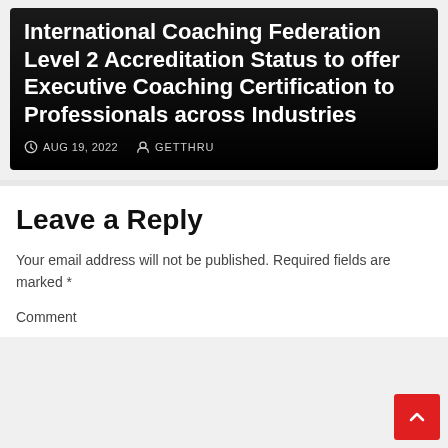International Coaching Federation Level 2 Accreditation Status to offer Executive Coaching Certification to Professionals across Industries
AUG 19, 2022   GETTHRU
Leave a Reply
Your email address will not be published. Required fields are marked *
Comment